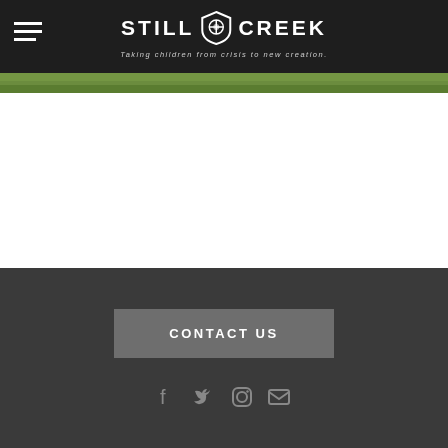Still Creek — Taking children from crisis to new creation.
[Figure (logo): Still Creek logo with shield icon and tagline 'Taking children from crisis to new creation.']
CONTACT US
[Figure (infographic): Social media icons: Facebook, Twitter, Instagram, Mail]